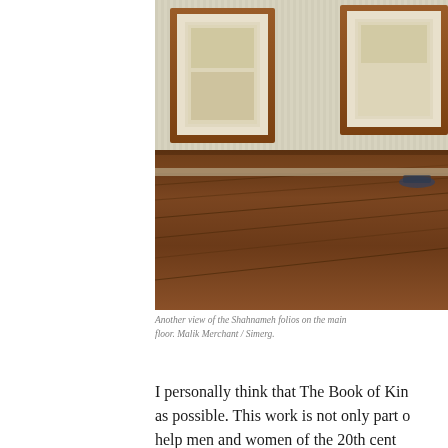[Figure (photo): Interior gallery view showing framed artworks (Shahnameh folios) hung on a striped cream/beige wall above a dark polished wood floor. Two ornate wooden-framed pieces are visible on the wall.]
Another view of the Shahnameh folios on the main floor. Malik Merchant / Simerg.
I personally think that The Book of Kings should be read by as many people as possible. This work is not only part of our heritage but can help men and women of the 20th century...